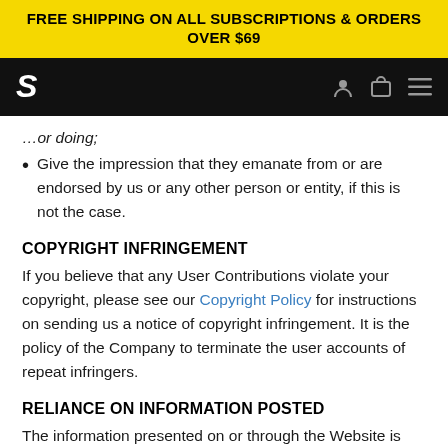FREE SHIPPING ON ALL SUBSCRIPTIONS & ORDERS OVER $69
[Figure (logo): Navigation bar with stylized S logo and icons for user, cart, and menu on black background]
... or doing;
Give the impression that they emanate from or are endorsed by us or any other person or entity, if this is not the case.
COPYRIGHT INFRINGEMENT
If you believe that any User Contributions violate your copyright, please see our Copyright Policy for instructions on sending us a notice of copyright infringement. It is the policy of the Company to terminate the user accounts of repeat infringers.
RELIANCE ON INFORMATION POSTED
The information presented on or through the Website is